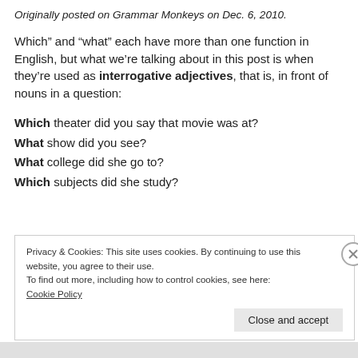Originally posted on Grammar Monkeys on Dec. 6, 2010.
Which” and “what” each have more than one function in English, but what we’re talking about in this post is when they’re used as interrogative adjectives, that is, in front of nouns in a question:
Which theater did you say that movie was at?
What show did you see?
What college did she go to?
Which subjects did she study?
Privacy & Cookies: This site uses cookies. By continuing to use this website, you agree to their use.
To find out more, including how to control cookies, see here:
Cookie Policy
Close and accept